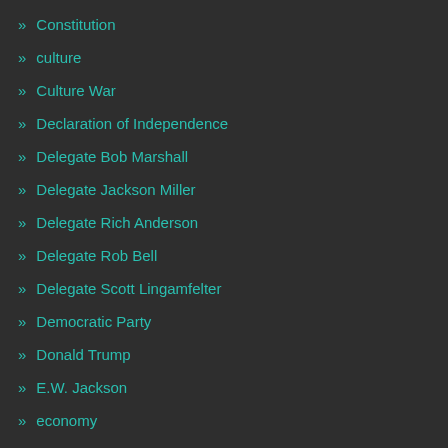» Constitution
» culture
» Culture War
» Declaration of Independence
» Delegate Bob Marshall
» Delegate Jackson Miller
» Delegate Rich Anderson
» Delegate Rob Bell
» Delegate Scott Lingamfelter
» Democratic Party
» Donald Trump
» E.W. Jackson
» economy
» email hoaxes